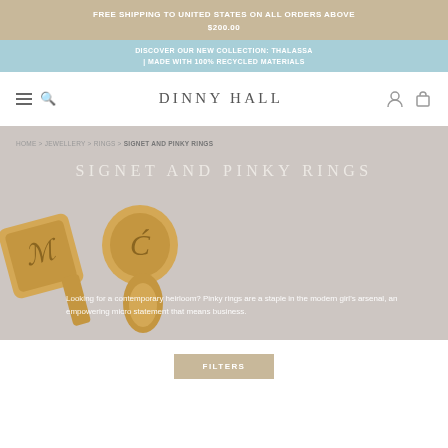FREE SHIPPING TO UNITED STATES ON ALL ORDERS ABOVE $200.00
DISCOVER OUR NEW COLLECTION: THALASSA | MADE WITH 100% RECYCLED MATERIALS
DINNY HALL
HOME > JEWELLERY > RINGS > SIGNET AND PINKY RINGS
SIGNET AND PINKY RINGS
Looking for a contemporary heirloom? Pinky rings are a staple in the modern girl's arsenal, an empowering micro statement that means business.
[Figure (photo): Two gold signet rings with engraved initials M and C, placed on a light beige background]
FILTERS